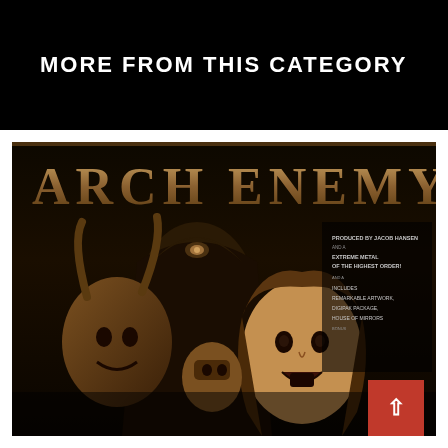MORE FROM THIS CATEGORY
[Figure (photo): Arch Enemy album cover showing the band name in large serif letters at the top, with dark fantasy artwork depicting demonic and human faces/figures below. Text on the right side of the cover mentions producer, extreme metal genre description, and includes names.]